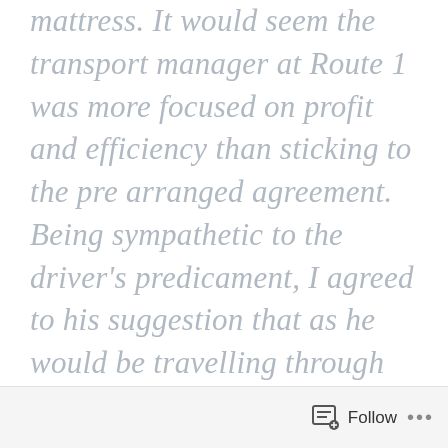mattress. It would seem the transport manager at Route 1 was more focused on profit and efficiency than sticking to the pre arranged agreement. Being sympathetic to the driver's predicament, I agreed to his suggestion that as he would be travelling through my area upon his return from Scotland' he would
Follow ···